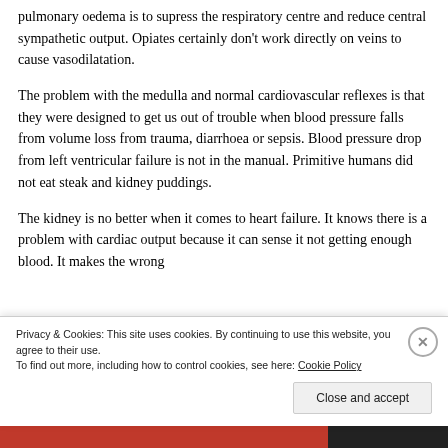pulmonary oedema is to supress the respiratory centre and reduce central sympathetic output. Opiates certainly don't work directly on veins to cause vasodilatation.
The problem with the medulla and normal cardiovascular reflexes is that they were designed to get us out of trouble when blood pressure falls from volume loss from trauma, diarrhoea or sepsis. Blood pressure drop from left ventricular failure is not in the manual. Primitive humans did not eat steak and kidney puddings.
The kidney is no better when it comes to heart failure. It knows there is a problem with cardiac output because it can sense it not getting enough blood. It makes the wrong
Privacy & Cookies: This site uses cookies. By continuing to use this website, you agree to their use.
To find out more, including how to control cookies, see here: Cookie Policy